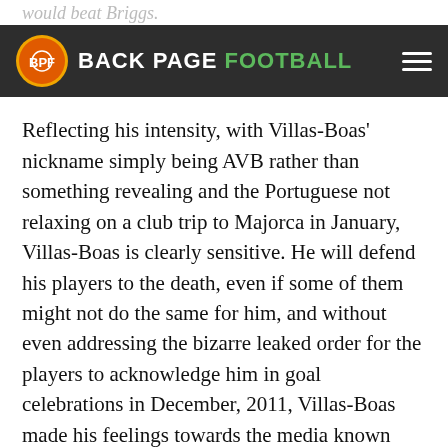would beat Briggs.
BACK PAGE FOOTBALL
Reflecting his intensity, with Villas-Boas' nickname simply being AVB rather than something revealing and the Portuguese not relaxing on a club trip to Majorca in January, Villas-Boas is clearly sensitive. He will defend his players to the death, even if some of them might not do the same for him, and without even addressing the bizarre leaked order for the players to acknowledge him in goal celebrations in December, 2011, Villas-Boas made his feelings towards the media known after the 3-0 win over Valencia on 6 December:
I hope they [Manchester City] qualify for